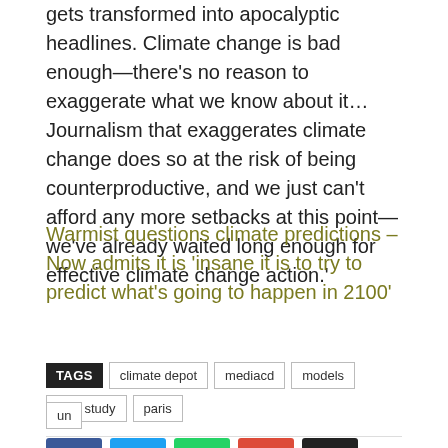gets transformed into apocalyptic headlines. Climate change is bad enough—there's no reason to exaggerate what we know about it…Journalism that exaggerates climate change does so at the risk of being counterproductive, and we just can't afford any more setbacks at this point—we've already waited long enough for effective climate change action.'
Warmist questions climate predictions – Now admits it is 'insane it is to try to predict what's going to happen in 2100'
TAGS: climate depot, mediacd, models, new study, paris, un